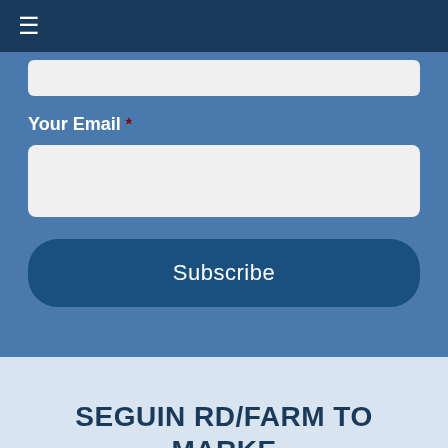≡
Your Email *
Subscribe
SEGUIN RD/FARM TO MARKE LOCATION: